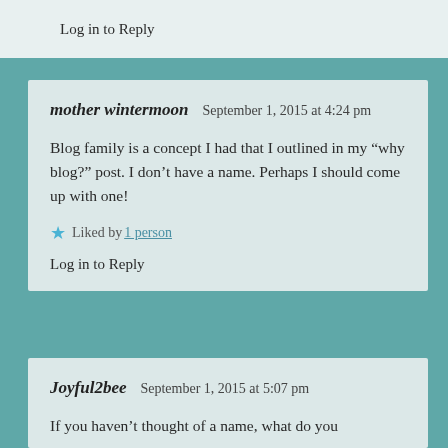Log in to Reply
mother wintermoon   September 1, 2015 at 4:24 pm
Blog family is a concept I had that I outlined in my “why blog?” post. I don’t have a name. Perhaps I should come up with one!
★ Liked by 1 person
Log in to Reply
Joyful2bee   September 1, 2015 at 5:07 pm
If you haven’t thought of a name, what do you